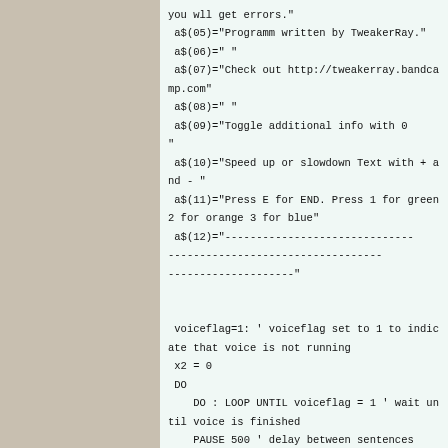you wll get errors."
 a$(05)="Programm written by TweakerRay."
 a$(06)=" "
 a$(07)="Check out http://tweakerray.bandcamp.com"
 a$(08)=" "
 a$(09)="Toggle additional info with 0              "
 a$(10)="Speed up or slowdown Text with + and - "
 a$(11)="Press E for END. Press 1 for green 2 for orange 3 for blue"
 a$(12)="-----------------------------------------------------------------------------------------------------------------------------"


 voiceflag=1: ' voiceflag set to 1 to indicate that voice is not running
 x2 = 0
 DO
    DO : LOOP UNTIL voiceflag = 1 ' wait until voice is finished
    PAUSE 500 ' delay between sentences